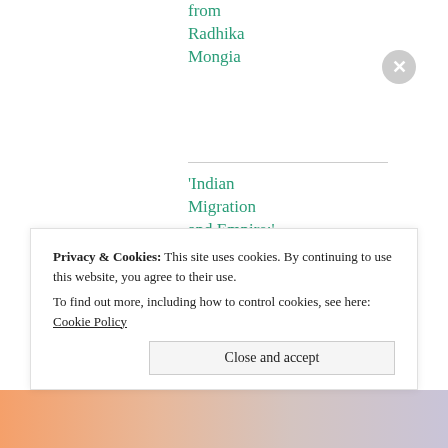from Radhika Mongia
'Indian Migration and Empire:' comment by Nadine El-Enany
'Indian Migration and Empire': comment by
Privacy & Cookies: This site uses cookies. By continuing to use this website, you agree to their use. To find out more, including how to control cookies, see here: Cookie Policy
Close and accept